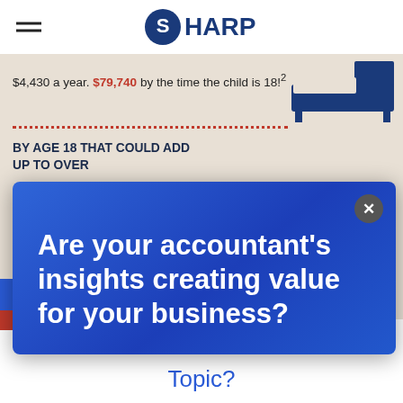SHARP
$4,430 a year. $79,740 by the time the child is 18!²
BY AGE 18 THAT COULD ADD UP TO OVER $500,000
[Figure (infographic): Infographic showing childcare cost accumulation. Text states $4,430 a year, $79,740 by the time the child is 18 (superscript 2). Below a dotted red line: BY AGE 18 THAT COULD ADD UP TO OVER in bold dark blue, followed by $500,000 in large red text. A simplified bed/cot illustration appears in the upper right of the infographic area.]
Are your accountant's insights creating value for your business?
Topic?